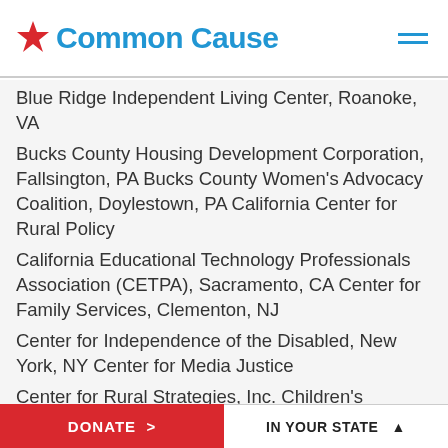Common Cause
Blue Ridge Independent Living Center, Roanoke, VA
Bucks County Housing Development Corporation, Fallsington, PA Bucks County Women's Advocacy Coalition, Doylestown, PA California Center for Rural Policy
California Educational Technology Professionals Association (CETPA), Sacramento, CA Center for Family Services, Clementon, NJ
Center for Independence of the Disabled, New York, NY Center for Media Justice
Center for Rural Strategies, Inc. Children's Advocacy Institute
The Children's Agenda, Rochester, NY The Children's Partnership
Citizens Action Coalition of Indiana Coalition on Human
DONATE >    IN YOUR STATE ^